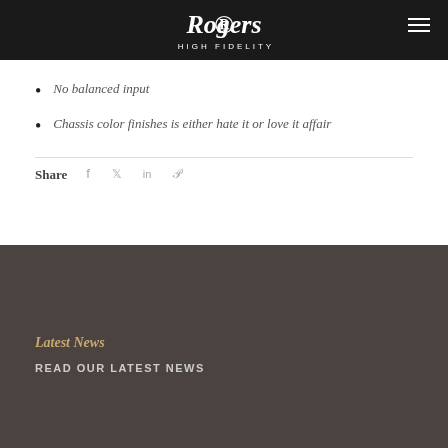Rogers High Fidelity
No balanced input
Chassis color finishes is either hate it or love it affair
Share
Latest News
READ OUR LATEST NEWS